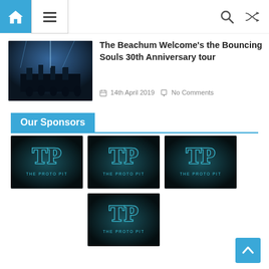[Figure (screenshot): Navigation bar with home icon, hamburger menu, search icon, and shuffle icon]
[Figure (photo): Concert photo showing band on stage with blue lighting and crowd]
The Beachum Welcome's the Bouncing Souls 30th Anniversary tour
14th April 2019   No Comments
Our Sponsors
[Figure (logo): The Proto Pit logo - teal and dark background with stylized TP letters]
[Figure (logo): The Proto Pit logo - teal and dark background with stylized TP letters]
[Figure (logo): The Proto Pit logo - teal and dark background with stylized TP letters]
[Figure (logo): The Proto Pit logo - teal and dark background with stylized TP letters]